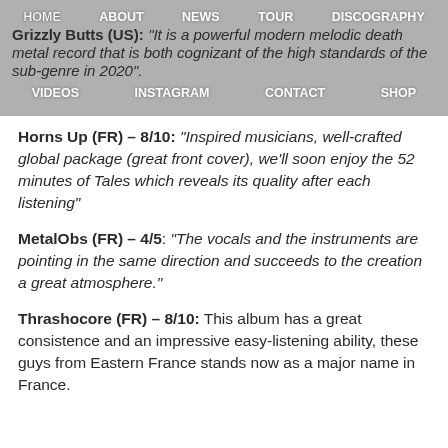HOME  ABOUT  NEWS  TOUR  DISCOGRAPHY  VIDEOS  INSTAGRAM  CONTACT  SHOP
Grizzly Butts (US): "It is a powerful modern melodic death metal record that is both cognizant of the high standards of the sub-genre in 2020".
Horns Up (FR) – 8/10: "Inspired musicians, well-crafted global package (great front cover), we'll soon enjoy the 52 minutes of Tales which reveals its quality after each listening"
MetalObs (FR) – 4/5: "The vocals and the instruments are pointing in the same direction and succeeds to the creation a great atmosphere."
Thrashocore (FR) – 8/10: This album has a great consistence and an impressive easy-listening ability, these guys from Eastern France stands now as a major name in France.